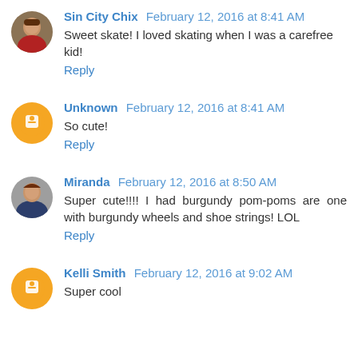Sin City Chix February 12, 2016 at 8:41 AM
Sweet skate! I loved skating when I was a carefree kid!
Reply
Unknown February 12, 2016 at 8:41 AM
So cute!
Reply
Miranda February 12, 2016 at 8:50 AM
Super cute!!!! I had burgundy pom-poms are one with burgundy wheels and shoe strings! LOL
Reply
Kelli Smith February 12, 2016 at 9:02 AM
Super cool